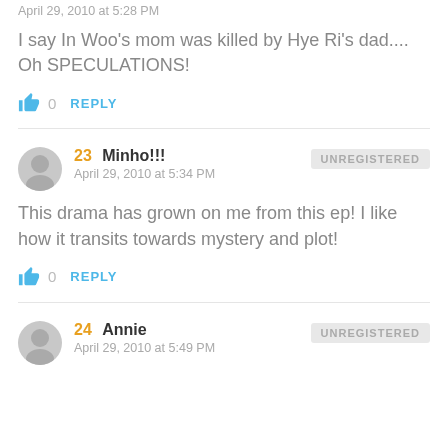April 29, 2010 at 5:28 PM
I say In Woo's mom was killed by Hye Ri's dad.... Oh SPECULATIONS!
0  REPLY
23  Minho!!!  UNREGISTERED
April 29, 2010 at 5:34 PM
This drama has grown on me from this ep! I like how it transits towards mystery and plot!
0  REPLY
24  Annie  UNREGISTERED
April 29, 2010 at 5:49 PM